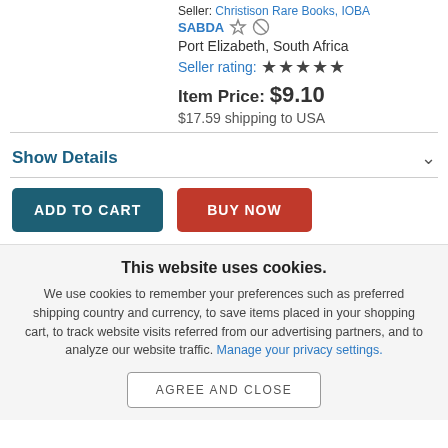Seller: Christison Rare Books, IOBA SABDA  Port Elizabeth, South Africa
Seller rating: ★★★★★
Item Price: $9.10
$17.59 shipping to USA
Show Details
ADD TO CART   BUY NOW
This website uses cookies.
We use cookies to remember your preferences such as preferred shipping country and currency, to save items placed in your shopping cart, to track website visits referred from our advertising partners, and to analyze our website traffic. Manage your privacy settings.
AGREE AND CLOSE